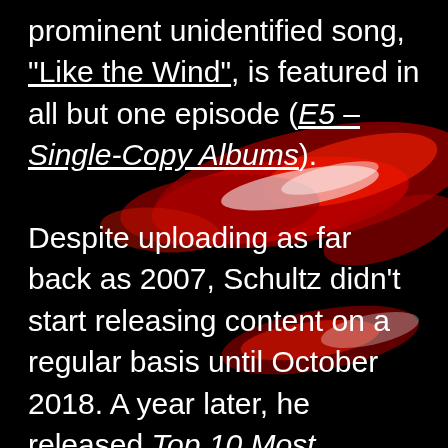[Figure (illustration): Dark background with abstract red and white splatter/smoke art overlaid behind white text]
prominent unidentified song, "Like the Wind", is featured in all but one episode (E5 – Single-Copy Albums). Despite uploading as far back as 2007, Schultz didn't start releasing content on a regular basis until October 2018. A year later, he released Top 10 Most Mysterious Songs and 5 Mysterious Songs That Were Eventually Identified; and after both videos garnered a viewership that focused on discovering and sharing several different types of music, Schultz was inspired to continue the series by covering other unidentified albums, songs...